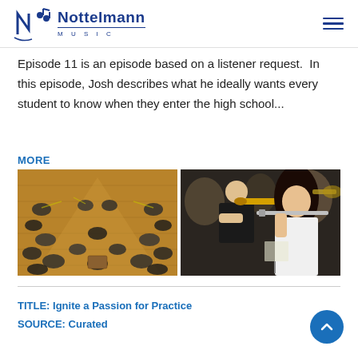Nottelmann Music
Episode 11 is an episode based on a listener request.  In this episode, Josh describes what he ideally wants every student to know when they enter the high school...
MORE
[Figure (photo): Two side-by-side photos: left shows an orchestra rehearsal from above with many musicians on a wooden floor; right shows students playing trumpet and flute in a band rehearsal]
TITLE: Ignite a Passion for Practice
SOURCE: Curated